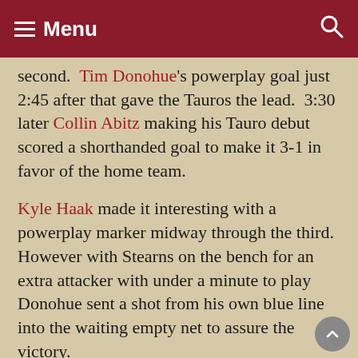Menu
second.  Tim Donohue's powerplay goal just 2:45 after that gave the Tauros the lead.  3:30 later Collin Abitz making his Tauro debut scored a shorthanded goal to make it 3-1 in favor of the home team.
Kyle Haak made it interesting with a powerplay marker midway through the third.  However with Stearns on the bench for an extra attacker with under a minute to play Donohue sent a shot from his own blue line into the waiting empty net to assure the victory.
The Minotauros will not have much time to celebrate the victory however with a game on the road in Brookings on Saturday night.  It will be the first meeting of the season for the two clubs, and the first since the Blizzard moved from Alexandria, MN, to Brookings, SD.
The Blizzard boast one of the stingiest goals against